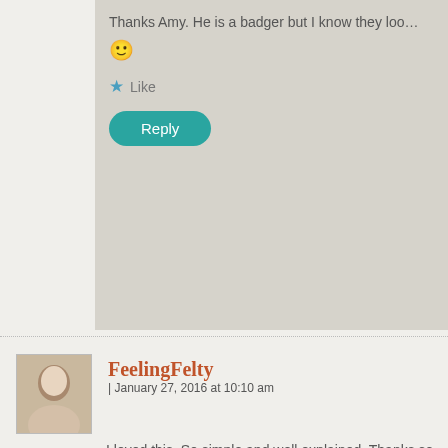Thanks Amy. He is a badger but I know they loo…
🙂
Like
Reply
FeelingFelty | January 27, 2016 at 10:10 am
I loved this. So simple and well explained. Thanks so m…
Like
Reply
Advertisements
[Figure (screenshot): DuckDuckGo advertisement banner with orange background. Text reads: Search, browse, and email with more privacy. All in One Free App. Shows a phone with DuckDuckGo logo.]